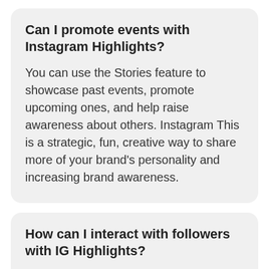Can I promote events with Instagram Highlights?
You can use the Stories feature to showcase past events, promote upcoming ones, and help raise awareness about others. Instagram This is a strategic, fun, creative way to share more of your brand's personality and increasing brand awareness.
How can I interact with followers with IG Highlights?
Using ad interactive polls allows